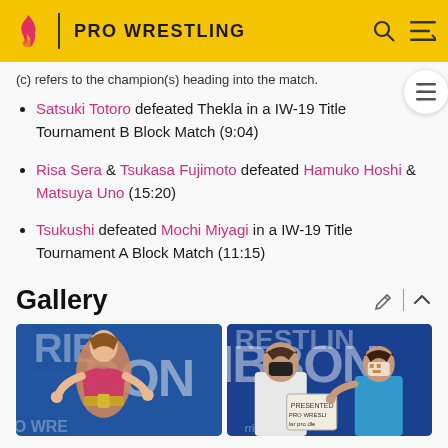PRO WRESTLING
(c) refers to the champion(s) heading into the match.
Satsuki Totoro defeated Thekla in a IW-19 Title Tournament B Block Match (9:04)
Risa Sera & Tsukasa Fujimoto defeated Hamuko Hoshi & Matsuya Uno (15:20)
Tsukushi defeated Mochi Miyagi in a IW-19 Title Tournament A Block Match (11:15)
Gallery
[Figure (photo): Two photos from a pro wrestling event. Left photo shows a female wrestler holding a championship belt in front of a blue Ribbon Pro Wrestling banner. Right photo shows two people (one wearing a black mask, one wearing a patterned mask) in front of a blue Ribbon Pro Wrestling banner.]